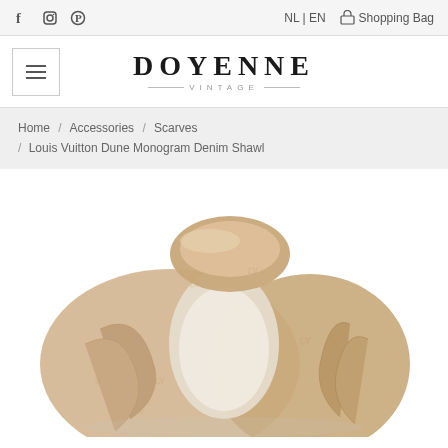f  [instagram]  [pinterest]   NL | EN   [shopping bag] Shopping Bag
[Figure (logo): Doyenne Vintage logo with hamburger menu icon on left]
Home / Accessories / Scarves / Louis Vuitton Dune Monogram Denim Shawl
[Figure (photo): Louis Vuitton Dune Monogram Denim Shawl in beige/sand color, looped and draped to show monogram pattern on silk fabric]